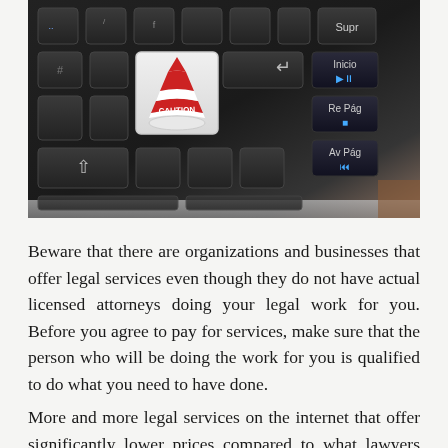[Figure (photo): A close-up photo of a dark laptop keyboard with a small red and white caution cone (traffic cone) placed on top of one of the keys. Visible keys include Supr, Inicio, Re Pág, Av Pág, a shift key (arrow up), and an Enter key (return arrow). The keyboard is black with the keys visible against a dark background.]
Beware that there are organizations and businesses that offer legal services even though they do not have actual licensed attorneys doing your legal work for you. Before you agree to pay for services, make sure that the person who will be doing the work for you is qualified to do what you need to have done.
More and more legal services on the internet that offer significantly lower prices compared to what lawyers usually charge for the same service, are being exposed as